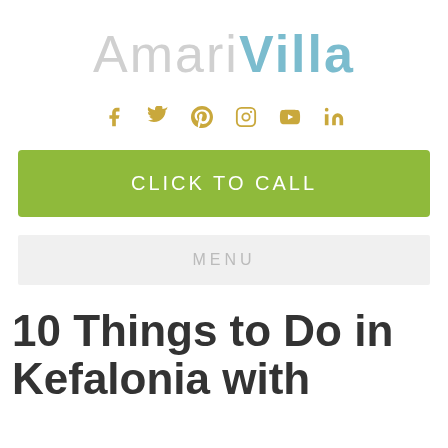[Figure (logo): AmariVilla logo: 'Amari' in light gray, 'Villa' in light blue, large serif-style sans-serif text]
[Figure (infographic): Social media icons: Facebook, Twitter, Pinterest, Instagram, YouTube, LinkedIn — all in golden/yellow color]
CLICK TO CALL
MENU
10 Things to Do in Kefalonia with